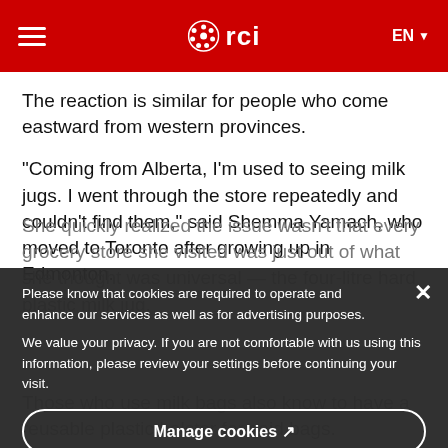RCI — Radio-Canada International header with hamburger menu, logo, and EN language selector
The reaction is similar for people who come eastward from western provinces.
"Coming from Alberta, I'm used to seeing milk jugs. I went through the store repeatedly and couldn't find them," said Shemma Yamach, who moved to Toronto after growing up in Edmonton.
She quickly realized the issue wasn't that every grocery store she visited was just out of what she thought was universal — the four-litre hard plastic milk jug.
Please know that cookies are required to operate and enhance our services as well as for advertising purposes.

We value your privacy. If you are not comfortable with us using this information, please review your settings before continuing your visit.
Manage cookies ↗
More information ↗
Those who use milk bags also know to have a reusable plastic holster for said bags.